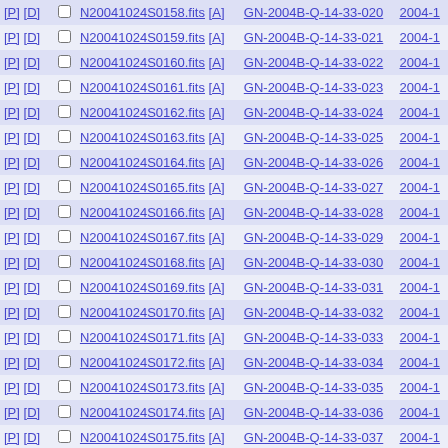| Links | CB | Filename | Program ID | Date |
| --- | --- | --- | --- | --- |
| [P] [D] |  | N20041024S0158.fits [A] | GN-2004B-Q-14-33-020 | 2004-1 |
| [P] [D] |  | N20041024S0159.fits [A] | GN-2004B-Q-14-33-021 | 2004-1 |
| [P] [D] |  | N20041024S0160.fits [A] | GN-2004B-Q-14-33-022 | 2004-1 |
| [P] [D] |  | N20041024S0161.fits [A] | GN-2004B-Q-14-33-023 | 2004-1 |
| [P] [D] |  | N20041024S0162.fits [A] | GN-2004B-Q-14-33-024 | 2004-1 |
| [P] [D] |  | N20041024S0163.fits [A] | GN-2004B-Q-14-33-025 | 2004-1 |
| [P] [D] |  | N20041024S0164.fits [A] | GN-2004B-Q-14-33-026 | 2004-1 |
| [P] [D] |  | N20041024S0165.fits [A] | GN-2004B-Q-14-33-027 | 2004-1 |
| [P] [D] |  | N20041024S0166.fits [A] | GN-2004B-Q-14-33-028 | 2004-1 |
| [P] [D] |  | N20041024S0167.fits [A] | GN-2004B-Q-14-33-029 | 2004-1 |
| [P] [D] |  | N20041024S0168.fits [A] | GN-2004B-Q-14-33-030 | 2004-1 |
| [P] [D] |  | N20041024S0169.fits [A] | GN-2004B-Q-14-33-031 | 2004-1 |
| [P] [D] |  | N20041024S0170.fits [A] | GN-2004B-Q-14-33-032 | 2004-1 |
| [P] [D] |  | N20041024S0171.fits [A] | GN-2004B-Q-14-33-033 | 2004-1 |
| [P] [D] |  | N20041024S0172.fits [A] | GN-2004B-Q-14-33-034 | 2004-1 |
| [P] [D] |  | N20041024S0173.fits [A] | GN-2004B-Q-14-33-035 | 2004-1 |
| [P] [D] |  | N20041024S0174.fits [A] | GN-2004B-Q-14-33-036 | 2004-1 |
| [P] [D] |  | N20041024S0175.fits [A] | GN-2004B-Q-14-33-037 | 2004-1 |
| [P] [D] |  | N20041024S0176.fits [A] | GN-2004B-Q-14-33-038 | 2004-1 |
| [P] [D] |  | N20041024S0177.fits [A] | GN-2004B-Q-14-33-039 | 2004-1 |